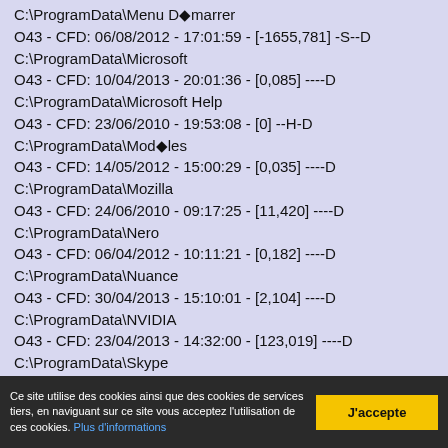C:\ProgramData\Menu D�marrer
O43 - CFD: 06/08/2012 - 17:01:59 - [-1655,781] -S--D
C:\ProgramData\Microsoft
O43 - CFD: 10/04/2013 - 20:01:36 - [0,085] ----D
C:\ProgramData\Microsoft Help
O43 - CFD: 23/06/2010 - 19:53:08 - [0] --H-D
C:\ProgramData\Mod�les
O43 - CFD: 14/05/2012 - 15:00:29 - [0,035] ----D
C:\ProgramData\Mozilla
O43 - CFD: 24/06/2010 - 09:17:25 - [11,420] ----D
C:\ProgramData\Nero
O43 - CFD: 06/04/2012 - 10:11:21 - [0,182] ----D
C:\ProgramData\Nuance
O43 - CFD: 30/04/2013 - 15:10:01 - [2,104] ----D
C:\ProgramData\NVIDIA
O43 - CFD: 23/04/2013 - 14:32:00 - [123,019] ----D
C:\ProgramData\Skype
O43 - CFD: 12/07/2011 - 18:51:01 - [6,193] ----D
C:\ProgramData\Skype Extras
O43 - CFD: 14/07/2009 - 07:08:56 - [0] -H-D (truncated)
Ce site utilise des cookies ainsi que des cookies de services tiers, en naviguant sur ce site vous acceptez l'utilisation de ces cookies. Plus d'informations
J'accepte